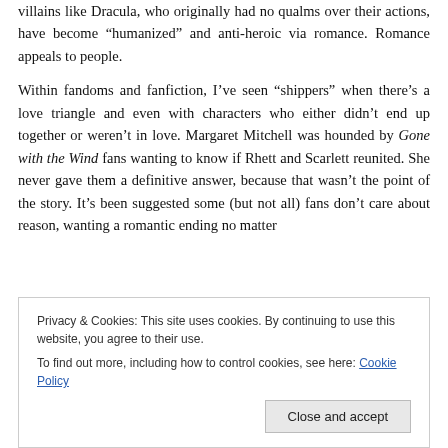villains like Dracula, who originally had no qualms over their actions, have become “humanized” and anti-heroic via romance. Romance appeals to people.
Within fandoms and fanfiction, I’ve seen “shippers” when there’s a love triangle and even with characters who either didn’t end up together or weren’t in love. Margaret Mitchell was hounded by Gone with the Wind fans wanting to know if Rhett and Scarlett reunited. She never gave them a definitive answer, because that wasn’t the point of the story. It’s been suggested some (but not all) fans don’t care about reason, wanting a romantic ending no matter
Privacy & Cookies: This site uses cookies. By continuing to use this website, you agree to their use.
To find out more, including how to control cookies, see here: Cookie Policy